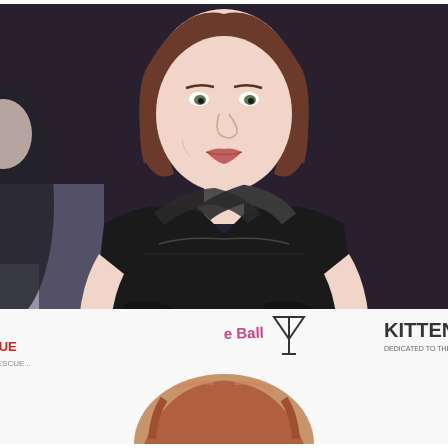[Figure (photo): A woman with shoulder-length brown hair wearing a black cross-strap dress, standing at what appears to be an event with white reserved seating signs in the background.]
[Figure (photo): Partial photo of a woman with reddish-brown hair at a Kitten Rescue fundraiser ball event, with event banners visible in the background.]